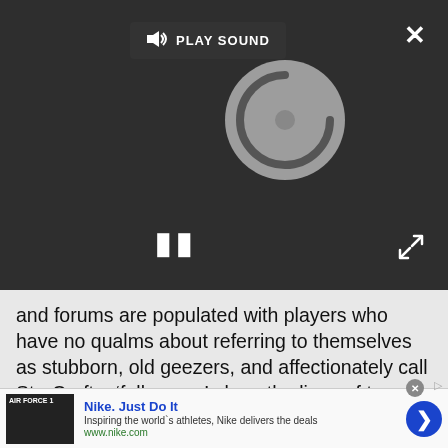[Figure (screenshot): Video player with dark background showing a loading spinner, pause button (II), PLAY SOUND button, close X button, and expand icon]
and forums are populated with players who have no qualms about referring to themselves as stubborn, old geezers, and affectionately call StarCraft a ‘folk game’ along the lines of tag or Go. While they occasionally bemoan how kids these days don’t want to play StarCraft, the general aura is one of contentedness. StarCraft exists, StarCraft is fun, and —What’s this? It has a shiny new coat of paint and it’s easier to find a game? Well, then that’s just swell.
[Figure (screenshot): Nike advertisement banner: Nike. Just Do It. Inspiring the world's athletes, Nike delivers the deals. www.nike.com]